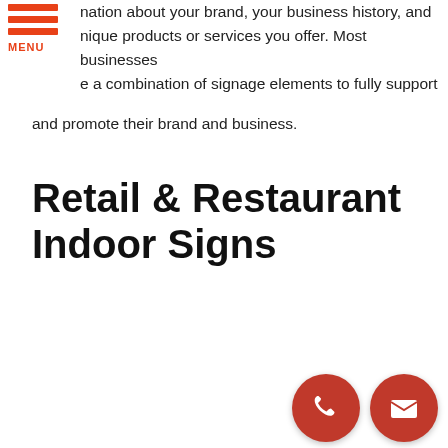[Figure (logo): Hamburger menu icon with three red horizontal bars and MENU label in orange-red text]
nation about your brand, your business history, and nique products or services you offer. Most businesses e a combination of signage elements to fully support and promote their brand and business.
Retail & Restaurant Indoor Signs
[Figure (other): Phone contact button: circular dark red button with white phone handset icon]
[Figure (other): Email contact button: circular dark red button with white envelope icon]